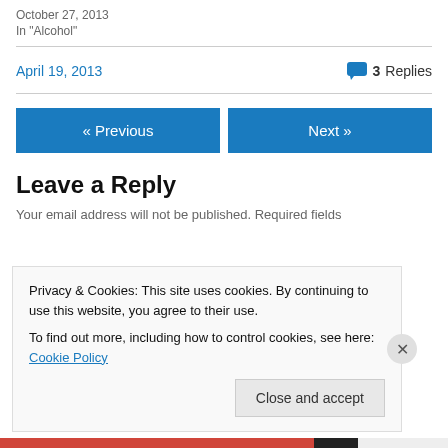October 27, 2013
In "Alcohol"
April 19, 2013
3 Replies
« Previous
Next »
Leave a Reply
Your email address will not be published. Required fields
Privacy & Cookies: This site uses cookies. By continuing to use this website, you agree to their use.
To find out more, including how to control cookies, see here: Cookie Policy